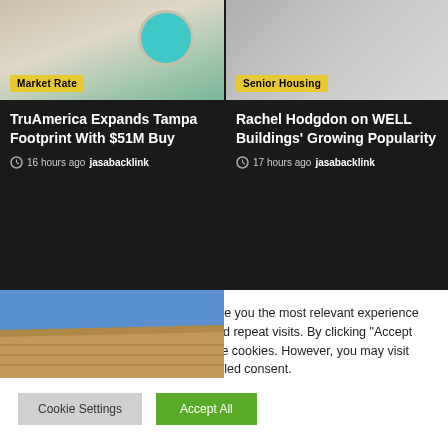[Figure (photo): Aerial view of a pool and patio area with a round pool, beige stonework — Market Rate article image]
Market Rate
TruAmerica Expands Tampa Footprint With $51M Buy
16 hours ago  jasabacklink
[Figure (photo): Gray-toned building exterior — Senior Housing article image]
Senior Housing
Rachel Hodgdon on WELL Buildings' Growing Popularity
17 hours ago  jasabacklink
[Figure (photo): Exterior of a multifamily apartment building against blue sky]
We use cookies on our website to give you the most relevant experience by remembering your preferences and repeat visits. By clicking "Accept All", you consent to the use of ALL the cookies. However, you may visit "Cookie Settings" to provide a controlled consent.
Cookie Settings   Accept All